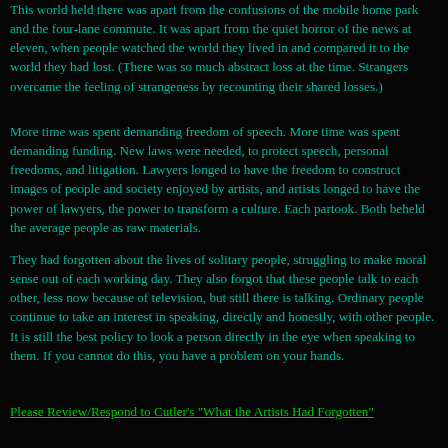This world held there was apart from the confusions of the mobile home park and the four-lane commute. It was apart from the quiet horror of the news at eleven, when people watched the world they lived in and compared it to the world they had lost. (There was so much abstract loss at the time. Strangers overcame the feeling of strangeness by recounting their shared losses.)
More time was spent demanding freedom of speech. More time was spent demanding funding. New laws were needed, to protect speech, personal freedoms, and litigation. Lawyers longed to have the freedom to construct images of people and society enjoyed by artists, and artists longed to have the power of lawyers, the power to transform a culture. Each partook. Both beheld the average people as raw materials.
They had forgotten about the lives of solitary people, struggling to make moral sense out of each working day. They also forgot that these people talk to each other, less now because of television, but still there is talking. Ordinary people continue to take an interest in speaking, directly and honestly, with other people. It is still the best policy to look a person directly in the eye when speaking to them. If you cannot do this, you have a problem on your hands.
Please Review/Respond to Cutler's "What the Artists Had Forgotten"